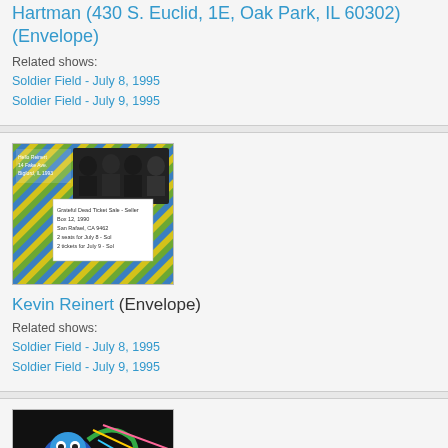Hartman (430 S. Euclid, 1E, Oak Park, IL 60302) (Envelope)
Related shows:
Soldier Field - July 8, 1995
Soldier Field - July 9, 1995
[Figure (photo): Envelope with diagonal stripe pattern in green, blue, and yellow, with an image of band members and a handwritten note/ticket stub visible]
Kevin Reinert (Envelope)
Related shows:
Soldier Field - July 8, 1995
Soldier Field - July 9, 1995
[Figure (photo): Colorful envelope with illustrated character and handwritten text, featuring bright colors including blue, red, green on dark background]